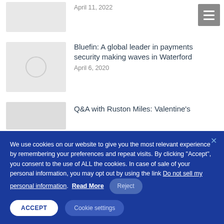April 11, 2022
Bluefin: A global leader in payments security making waves in Waterford
April 6, 2020
Q&A with Ruston Miles: Valentine’s
We use cookies on our website to give you the most relevant experience by remembering your preferences and repeat visits. By clicking “Accept”, you consent to the use of ALL the cookies. In case of sale of your personal information, you may opt out by using the link Do not sell my personal information. Read More Reject
ACCEPT  Cookie settings